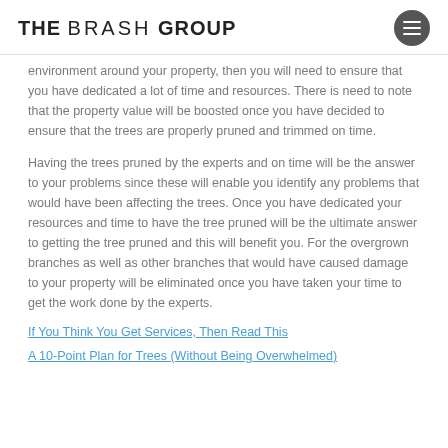THE BRASH GROUP
environment around your property, then you will need to ensure that you have dedicated a lot of time and resources. There is need to note that the property value will be boosted once you have decided to ensure that the trees are properly pruned and trimmed on time.
Having the trees pruned by the experts and on time will be the answer to your problems since these will enable you identify any problems that would have been affecting the trees. Once you have dedicated your resources and time to have the tree pruned will be the ultimate answer to getting the tree pruned and this will benefit you. For the overgrown branches as well as other branches that would have caused damage to your property will be eliminated once you have taken your time to get the work done by the experts.
If You Think You Get Services, Then Read This
A 10-Point Plan for Trees (Without Being Overwhelmed)